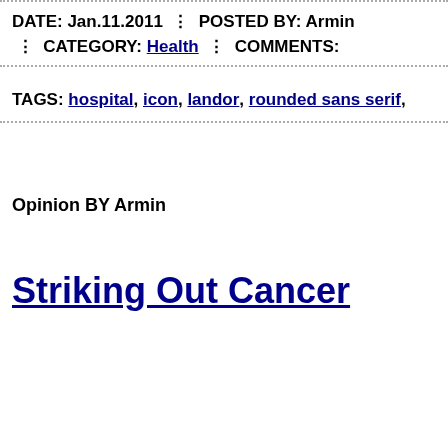DATE: Jan.11.2011  POSTED BY: Armin  CATEGORY: Health  COMMENTS:
TAGS: hospital, icon, landor, rounded sans serif,
Opinion BY Armin
Striking Out Cancer